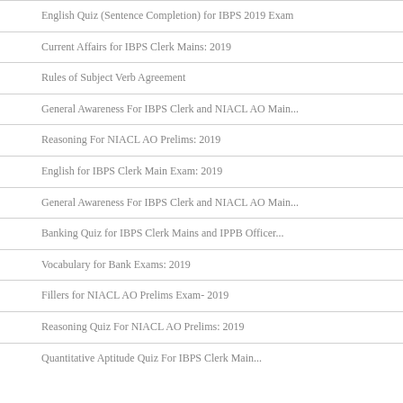English Quiz (Sentence Completion) for IBPS 2019 Exam
Current Affairs for IBPS Clerk Mains: 2019
Rules of Subject Verb Agreement
General Awareness For IBPS Clerk and NIACL AO Main...
Reasoning For NIACL AO Prelims: 2019
English for IBPS Clerk Main Exam: 2019
General Awareness For IBPS Clerk and NIACL AO Main...
Banking Quiz for IBPS Clerk Mains and IPPB Officer...
Vocabulary for Bank Exams: 2019
Fillers for NIACL AO Prelims Exam- 2019
Reasoning Quiz For NIACL AO Prelims: 2019
Quantitative Aptitude Quiz For IBPS Clerk Main...